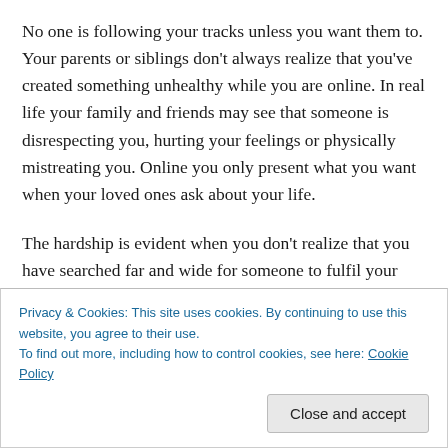No one is following your tracks unless you want them to. Your parents or siblings don't always realize that you've created something unhealthy while you are online. In real life your family and friends may see that someone is disrespecting you, hurting your feelings or physically mistreating you. Online you only present what you want when your loved ones ask about your life.
The hardship is evident when you don't realize that you have searched far and wide for someone to fulfil your dysfunction. The same dysfunction that ruined your
Privacy & Cookies: This site uses cookies. By continuing to use this website, you agree to their use.
To find out more, including how to control cookies, see here: Cookie Policy
You invest far too much time building a persona that is not